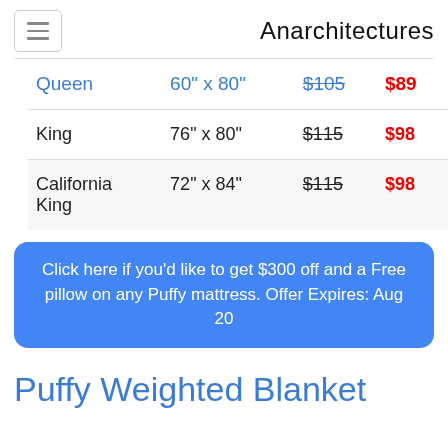Anarchitectures
| Size | Dimensions | Original Price | Sale Price |
| --- | --- | --- | --- |
| Queen | 60" x 80" | $105 | $89 |
| King | 76" x 80" | $115 | $98 |
| California King | 72" x 84" | $115 | $98 |
Click here if you’d like to get $300 off and a Free pillow on any Puffy mattress. Offer Expires: Aug 20
Puffy Weighted Blanket